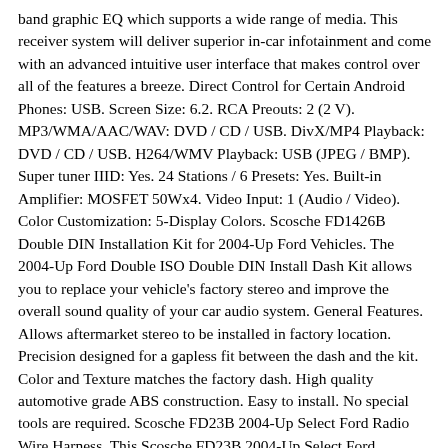band graphic EQ which supports a wide range of media. This receiver system will deliver superior in-car infotainment and come with an advanced intuitive user interface that makes control over all of the features a breeze. Direct Control for Certain Android Phones: USB. Screen Size: 6.2. RCA Preouts: 2 (2 V). MP3/WMA/AAC/WAV: DVD / CD / USB. DivX/MP4 Playback: DVD / CD / USB. H264/WMV Playback: USB (JPEG / BMP). Super tuner IIID: Yes. 24 Stations / 6 Presets: Yes. Built-in Amplifier: MOSFET 50Wx4. Video Input: 1 (Audio / Video). Color Customization: 5-Display Colors. Scosche FD1426B Double DIN Installation Kit for 2004-Up Ford Vehicles. The 2004-Up Ford Double ISO Double DIN Install Dash Kit allows you to replace your vehicle's factory stereo and improve the overall sound quality of your car audio system. General Features. Allows aftermarket stereo to be installed in factory location. Precision designed for a gapless fit between the dash and the kit. Color and Texture matches the factory dash. High quality automotive grade ABS construction. Easy to install. No special tools are required. Scosche FD23B 2004-Up Select Ford Radio Wire Harness. This Scosche FD23B 2004-Up Select Ford Power/Speaker Wire Harness connects an aftermarket stereo to the factory radio harness. This product is not compatible with factory amplified systems. With a simple, direct connection design and manufactured with factory quality wire and connectors, this wire harness will provide you with easy, durable installation without cutting any